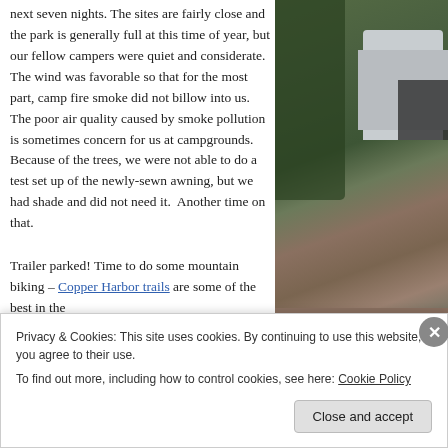next seven nights. The sites are fairly close and the park is generally full at this time of year, but our fellow campers were quiet and considerate. The wind was favorable so that for the most part, camp fire smoke did not billow into us. The poor air quality caused by smoke pollution is sometimes concern for us at campgrounds.  Because of the trees, we were not able to do a test set up of the newly-sewn awning, but we had shade and did not need it.  Another time on that.
[Figure (photo): Photo of a travel trailer/camper parked at a wooded campsite, with trees visible in the background and a vehicle nearby.]
Trailer parked! Time to do some mountain biking – Copper Harbor trails are some of the best in the
Privacy & Cookies: This site uses cookies. By continuing to use this website, you agree to their use.
To find out more, including how to control cookies, see here: Cookie Policy
Close and accept